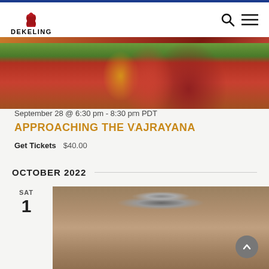DEKELING
[Figure (photo): Close-up photo of a monk or person wearing red and yellow/gold Tibetan robes]
September 28 @ 6:30 pm - 8:30 pm PDT
APPROACHING THE VAJRAYANA
Get Tickets   $40.00
OCTOBER 2022
SAT
1
[Figure (photo): Close-up photo of a metallic jar lid on a brown surface]